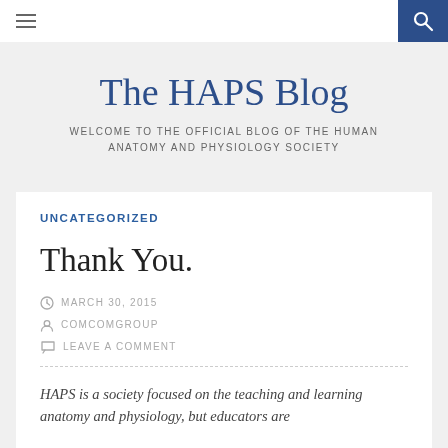The HAPS Blog — navigation bar with hamburger menu and search icon
The HAPS Blog
WELCOME TO THE OFFICIAL BLOG OF THE HUMAN ANATOMY AND PHYSIOLOGY SOCIETY
UNCATEGORIZED
Thank You.
MARCH 30, 2015
COMCOMGROUP
LEAVE A COMMENT
HAPS is a society focused on the teaching and learning anatomy and physiology, but educators are